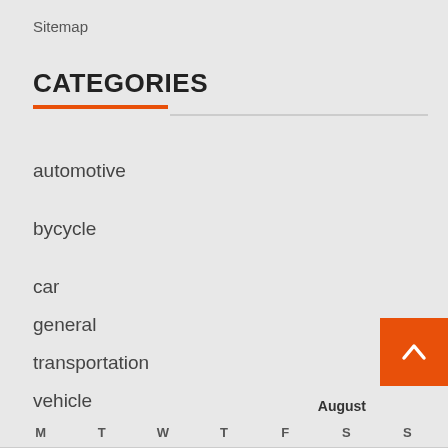Sitemap
CATEGORIES
automotive
bycycle
car
general
transportation
vehicle
August
M  T  W  T  F  S  S